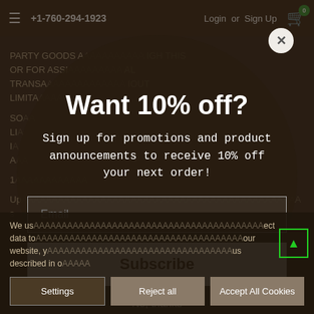☰  +1-760-294-1923    Login  or  Sign Up  🛒 0
PARTY GOODS A... OUGH THIS OR FOR ASSI... AL TRANSA... IOUT LIMITA...
SO... LI... I... A...
1...
Up...                  s
Want 10% off?
Sign up for promotions and product announcements to receive 10% off your next order!
Email
Subscribe
No, thanks
We us...                             ect data to...                          our website, y...                       us described in o...
Settings    Reject all    Accept All Cookies